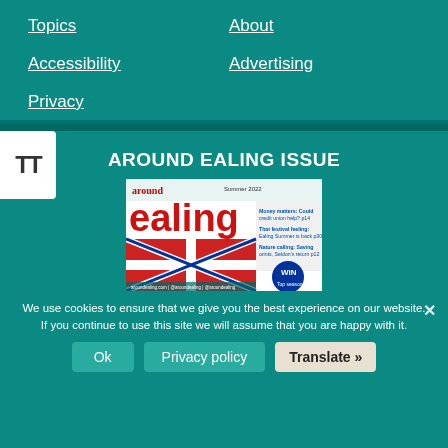Topics
About
Accessibility
Advertising
Privacy
AROUND EALING ISSUE
[Figure (photo): Around Ealing magazine cover, Summer 2022, featuring the Union Jack flag and text about money matters, festival feeling, and nature calling]
We use cookies to ensure that we give you the best experience on our website. If you continue to use this site we will assume that you are happy with it.
Ok   Privacy policy   Translate »